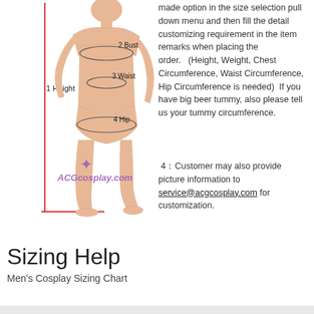[Figure (illustration): 3D illustration of a female figure with measurement labels: 1 Height (vertical red line on left), 2 Bust (ellipse around chest), 3 Waist (ellipse around waist), 4 Hip (ellipse around hips). Watermark text 'ACGcosplay.com' in purple.]
made option in the size selection pull down menu and then fill the detail customizing requirement in the item remarks when placing the order.    (Height, Weight, Chest Circumference, Waist Circumference, Hip Circumference is needed)  If you have big beer tummy, also please tell us your tummy circumference.
4：Customer may also provide picture information to service@acgcosplay.com for customization.
Sizing Help
Men's Cosplay Sizing Chart